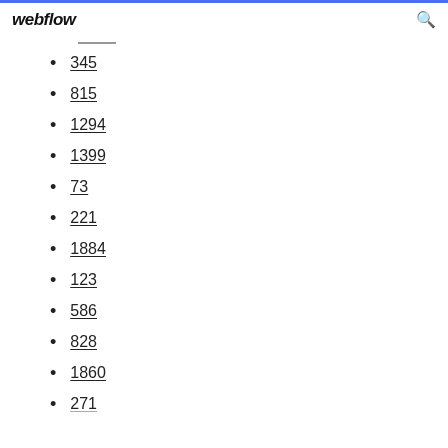webflow
345
815
1294
1399
73
221
1884
123
586
828
1860
271